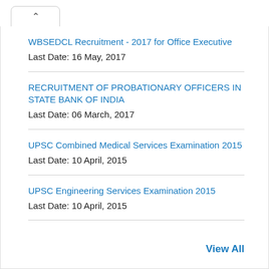WBSEDCL Recruitment - 2017 for Office Executive
Last Date: 16 May, 2017
RECRUITMENT OF PROBATIONARY OFFICERS IN STATE BANK OF INDIA
Last Date: 06 March, 2017
UPSC Combined Medical Services Examination 2015
Last Date: 10 April, 2015
UPSC Engineering Services Examination 2015
Last Date: 10 April, 2015
View All